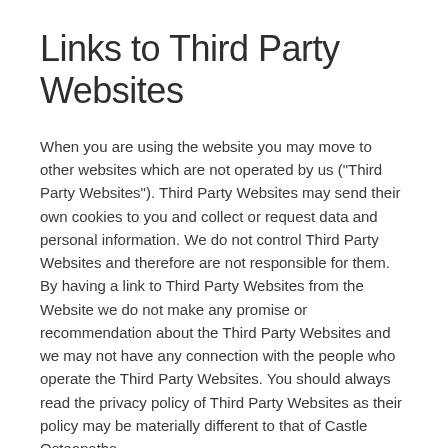Links to Third Party Websites
When you are using the website you may move to other websites which are not operated by us ("Third Party Websites"). Third Party Websites may send their own cookies to you and collect or request data and personal information. We do not control Third Party Websites and therefore are not responsible for them. By having a link to Third Party Websites from the Website we do not make any promise or recommendation about the Third Party Websites and we may not have any connection with the people who operate the Third Party Websites. You should always read the privacy policy of Third Party Websites as their policy may be materially different to that of Castle Osteopaths.
Changes to the Privacy Policy